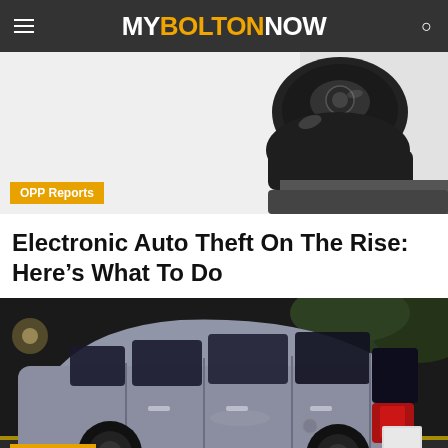MY BOLTON NOW
[Figure (photo): Close-up photo of a black electronic car key fob on a white/grey background]
OPP Reports
Electronic Auto Theft On The Rise: Here’s What To Do
[Figure (photo): Nighttime photograph of a silver/grey Dodge Grand Caravan minivan parked in a lot, viewed from the rear three-quarter angle]
News Flash